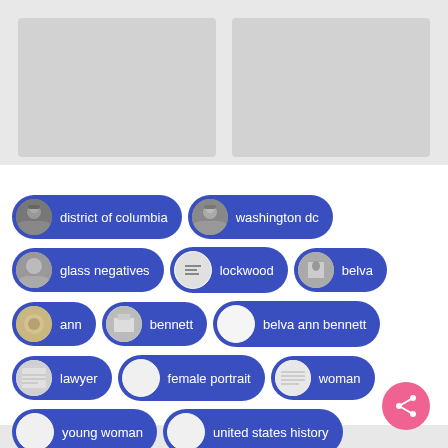[Figure (photo): Two grey placeholder image boxes side by side at the top of the page]
[Figure (infographic): A grid of tag/pill buttons with circular thumbnail images and text labels: district of columbia, washington dc, glass negatives, lockwood, belva, ann, bennett, belva ann bennett, lawyer, female portrait, woman, young woman, united states history]